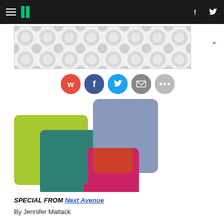HuffPost navigation with hamburger menu, logo, Facebook and Twitter icons
[Figure (infographic): Advertisement banner with grey polka-dot / bubble pattern on white background]
[Figure (infographic): Row of social sharing circular icon buttons: Pocket (red), Facebook (blue), Twitter (light blue), Email (grey), More (grey)]
[Figure (logo): Next Avenue logo: overlapping colored rectangles in lime green, teal, magenta/red, and slate blue arranged in an abstract composition]
SPECIAL FROM Next Avenue
By Jennifer Matlack